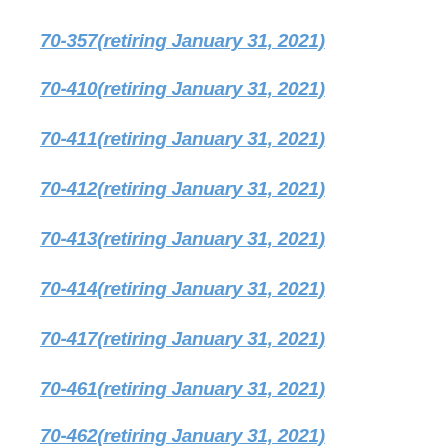70-357(retiring January 31, 2021)
70-410(retiring January 31, 2021)
70-411(retiring January 31, 2021)
70-412(retiring January 31, 2021)
70-413(retiring January 31, 2021)
70-414(retiring January 31, 2021)
70-417(retiring January 31, 2021)
70-461(retiring January 31, 2021)
70-462(retiring January 31, 2021)